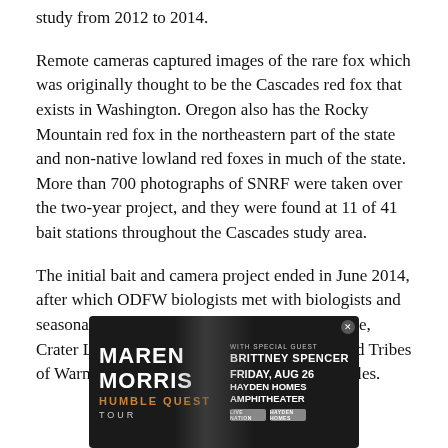study from 2012 to 2014.
Remote cameras captured images of the rare fox which was originally thought to be the Cascades red fox that exists in Washington. Oregon also has the Rocky Mountain red fox in the northeastern part of the state and non-native lowland red foxes in much of the state. More than 700 photographs of SNRF were taken over the two-year project, and they were found at 11 of 41 bait stations throughout the Cascades study area.
The initial bait and camera project ended in June 2014, after which ODFW biologists met with biologists and seasonal employees with the U.S. Forest Service, Crater Lake National Park and the Confederated Tribes of Warm Springs to collect scat and other samples.
[Figure (infographic): Advertisement banner for Maren Morris Humble Quest Tour featuring Brittney Spencer as special guest, Friday Aug 26, Hayden Homes Amphitheater, Live Nation]